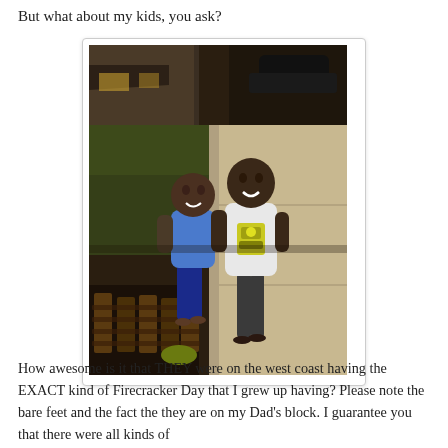But what about my kids, you ask?
[Figure (photo): Two boys smiling and running/walking on a sidewalk at dusk outside a house. One wears a blue t-shirt and blue shorts, the other wears a white t-shirt with a Transformers graphic. There is grass and a lawn chair visible in the background.]
How awesome is it that THEY were on the west coast having the EXACT kind of Firecracker Day that I grew up having? Please note the bare feet and the fact the they are on my Dad's block. I guarantee you that there were all kinds of